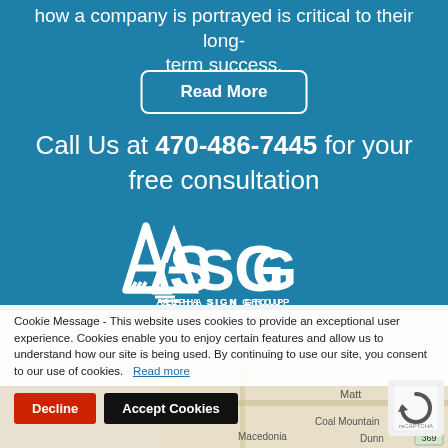how a company is portrayed is critical to their long-term success.
Read More
Call Us at 470-486-7445 for your free consultation
[Figure (logo): ASG Alpha Sign Group logo in white on blue background]
Cookie Message - This website uses cookies to provide an exceptional user experience. Cookies enable you to enjoy certain features and allow us to understand how our site is being used. By continuing to use our site, you consent to our use of cookies.  Read more
Decline
Accept Cookies
[Figure (map): Google Maps snippet showing Macedonia, Matt, Coal Mountain, Dunn area]